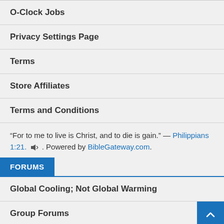O-Clock Jobs
Privacy Settings Page
Terms
Store Affiliates
Terms and Conditions
“For to me to live is Christ, and to die is gain.” — Philippians 1:21. 🔊. Powered by BibleGateway.com.
FORUMS
Global Cooling; Not Global Warming
Group Forums
Moseic